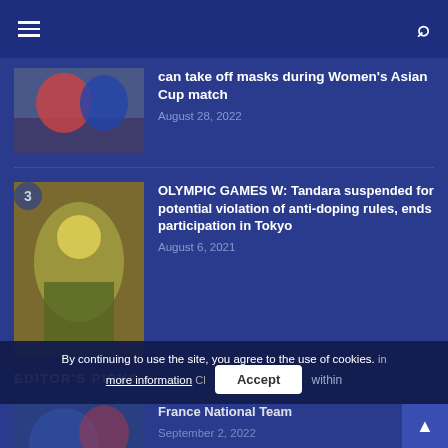Navigation header with hamburger menu and search icon
can take off masks during Women's Asian Cup match
August 28, 2022
OLYMPIC GAMES W: Tandara suspended for potential violation of anti-doping rules, ends participation in Tokyo
August 6, 2021
EDITOR'S PICKS
France National Team
September 2, 2022
By continuing to use the site, you agree to the use of cookies. more information  Accept